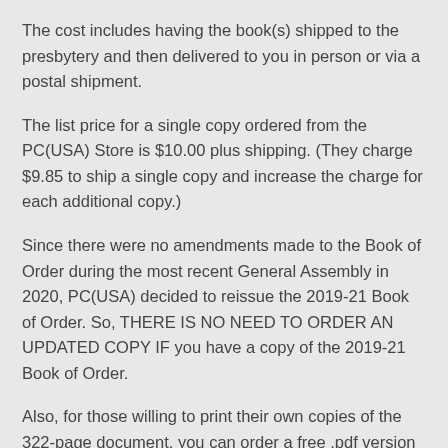The cost includes having the book(s) shipped to the presbytery and then delivered to you in person or via a postal shipment.
The list price for a single copy ordered from the PC(USA) Store is $10.00 plus shipping. (They charge $9.85 to ship a single copy and increase the charge for each additional copy.)
Since there were no amendments made to the Book of Order during the most recent General Assembly in 2020, PC(USA) decided to reissue the 2019-21 Book of Order. So, THERE IS NO NEED TO ORDER AN UPDATED COPY IF you have a copy of the 2019-21 Book of Order.
Also, for those willing to print their own copies of the 322-page document, you can order a free .pdf version available for from The PC(USA) Store. It is product number OGA19010.  (Congregational